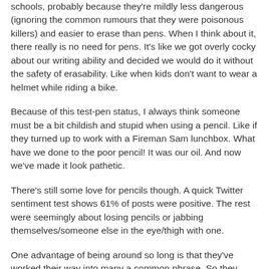schools, probably because they're mildly less dangerous (ignoring the common rumours that they were poisonous killers) and easier to erase than pens. When I think about it, there really is no need for pens. It's like we got overly cocky about our writing ability and decided we would do it without the safety of erasability. Like when kids don't want to wear a helmet while riding a bike.
Because of this test-pen status, I always think someone must be a bit childish and stupid when using a pencil. Like if they turned up to work with a Fireman Sam lunchbox. What have we done to the poor pencil! It was our oil. And now we've made it look pathetic.
There's still some love for pencils though. A quick Twitter sentiment test shows 61% of posts were positive. The rest were seemingly about losing pencils or jabbing themselves/someone else in the eye/thigh with one.
One advantage of being around so long is that they've worked their way into many a common phrase. So they don't just allow us to create beautiful things, they inspire it. For instance, it's the...